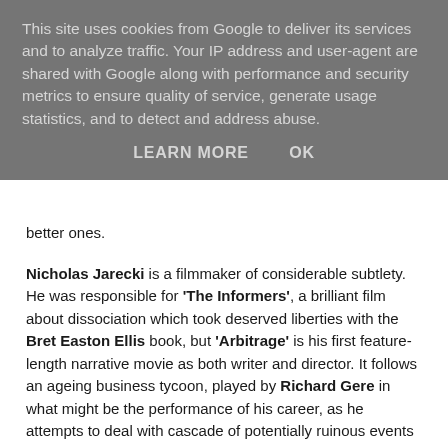This site uses cookies from Google to deliver its services and to analyze traffic. Your IP address and user-agent are shared with Google along with performance and security metrics to ensure quality of service, generate usage statistics, and to detect and address abuse.
LEARN MORE   OK
better ones.
Nicholas Jarecki is a filmmaker of considerable subtlety. He was responsible for 'The Informers', a brilliant film about dissociation which took deserved liberties with the Bret Easton Ellis book, but 'Arbitrage' is his first feature-length narrative movie as both writer and director. It follows an ageing business tycoon, played by Richard Gere in what might be the performance of his career, as he attempts to deal with cascade of potentially ruinous events and save his fortune, family and reputation.
Without giving anything away, he becomes the subject of a criminal investigation led by an admittedly hammy Tim Roth,